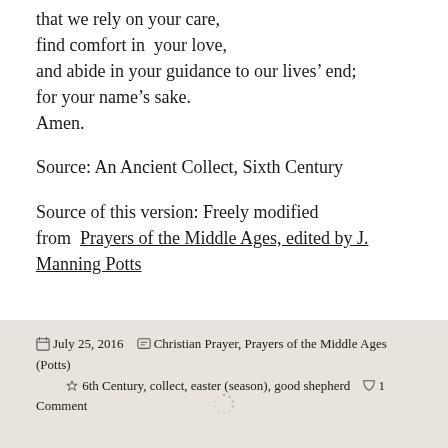that we rely on your care,
find comfort in your love,
and abide in your guidance to our lives' end;
for your name's sake.
Amen.
Source: An Ancient Collect, Sixth Century
Source of this version: Freely modified from Prayers of the Middle Ages, edited by J. Manning Potts
July 25, 2016   Christian Prayer, Prayers of the Middle Ages (Potts)   6th Century, collect, easter (season), good shepherd   1 Comment